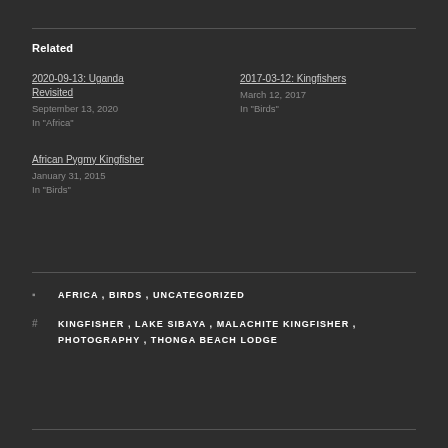Related
2020-09-13: Uganda Revisited
September 13, 2020
In "Africa"
2017-03-12: Kingfishers
March 12, 2017
In "Birds"
African Pygmy Kingfisher
January 31, 2015
In "Birds"
AFRICA , BIRDS , UNCATEGORIZED
KINGFISHER , LAKE SIBAYA , MALACHITE KINGFISHER , PHOTOGRAPHY , THONGA BEACH LODGE